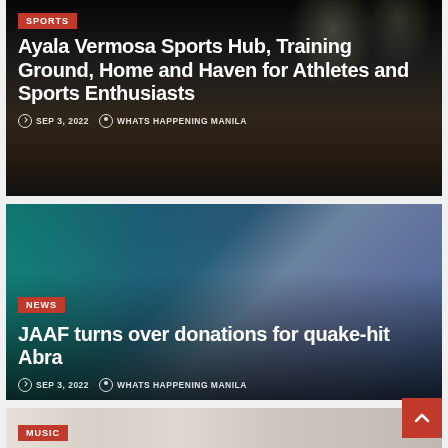[Figure (photo): Night view of sports stadium with floodlights illuminating a running track and bleachers, dark atmosphere]
SPORTS
Ayala Vermosa Sports Hub, Training Ground, Home and Haven for Athletes and Sports Enthusiasts
SEP 3, 2022   WHATS HAPPENING MANILA
[Figure (photo): People standing behind donation boxes with Araneta City banners reading 'find your firsts here' and '#CityOfFirsts', participants wearing masks]
NEWS
JAAF turns over donations for quake-hit Abra
SEP 3, 2022   WHATS HAPPENING MANILA
[Figure (photo): Partial view of a music-related article, light-toned background]
MUSIC